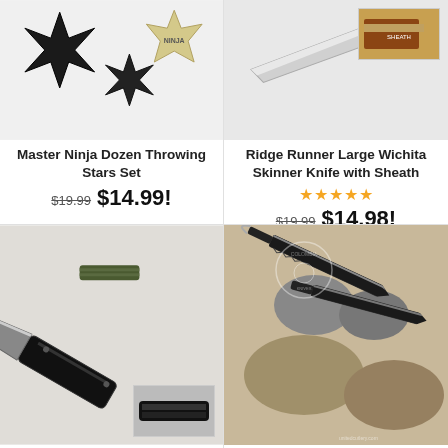[Figure (photo): Master Ninja Dozen Throwing Stars Set product image showing black throwing stars and a gold ninja star badge]
Master Ninja Dozen Throwing Stars Set
$19.99 $14.99!
[Figure (photo): Ridge Runner Large Wichita Skinner Knife with Sheath product image showing a large knife blade and a smaller inset photo of the knife with sheath]
Ridge Runner Large Wichita Skinner Knife with Sheath
★★★★★
$19.99 $14.98!
[Figure (photo): SOA Scout Assisted Opening Pocket Knife - Black product image showing a large opened black tactical folding knife and a smaller closed knife inset thumbnail]
SOA Scout Assisted Opening Pocket Knife - Black with
[Figure (photo): United Cutlery Colombian Machetes® Sawback Survival product image showing two black machetes on a rocky background with a watermark logo]
United Cutlery Colombian Machetes® Sawback Survival